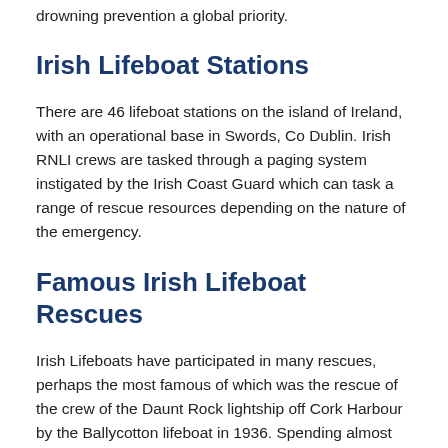drowning prevention a global priority.
Irish Lifeboat Stations
There are 46 lifeboat stations on the island of Ireland, with an operational base in Swords, Co Dublin. Irish RNLI crews are tasked through a paging system instigated by the Irish Coast Guard which can task a range of rescue resources depending on the nature of the emergency.
Famous Irish Lifeboat Rescues
Irish Lifeboats have participated in many rescues, perhaps the most famous of which was the rescue of the crew of the Daunt Rock lightship off Cork Harbour by the Ballycotton lifeboat in 1936. Spending almost 50 hours at sea, the lifeboat stood by the drifting lightship until the proximity to the Daunt Rock forced the coxswain to get alongside and successfully rescue the lightship's crew.